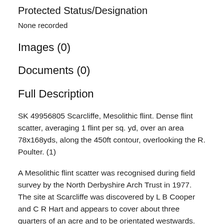Protected Status/Designation
None recorded
Images (0)
Documents (0)
Full Description
SK 49956805 Scarcliffe, Mesolithic flint. Dense flint scatter, averaging 1 flint per sq. yd, over an area 78x168yds, along the 450ft contour, overlooking the R. Poulter. (1)
A Mesolithic flint scatter was recognised during field survey by the North Derbyshire Arch Trust in 1977. The site at Scarcliffe was discovered by L B Cooper and C R Hart and appears to cover about three quarters of an acre and to be orientated westwards. The assemblage has a small microlithic component. The limits of the site are unknown, due to dense woodland